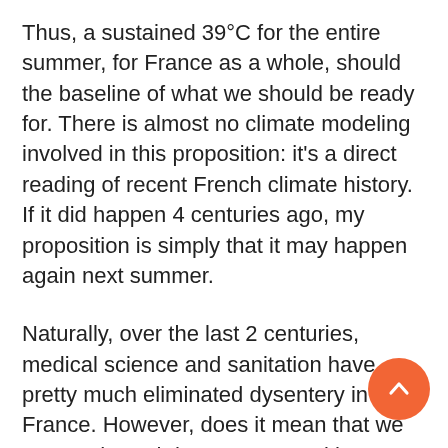Thus, a sustained 39°C for the entire summer, for France as a whole, should the baseline of what we should be ready for. There is almost no climate modeling involved in this proposition: it's a direct reading of recent French climate history. If it did happen 4 centuries ago, my proposition is simply that it may happen again next summer.
Naturally, over the last 2 centuries, medical science and sanitation have pretty much eliminated dysentery in France. However, does it mean that we can go through hot summers without any trouble? If we judge by the recent events of summer 2003 in France, hot summers still present serious risks. The